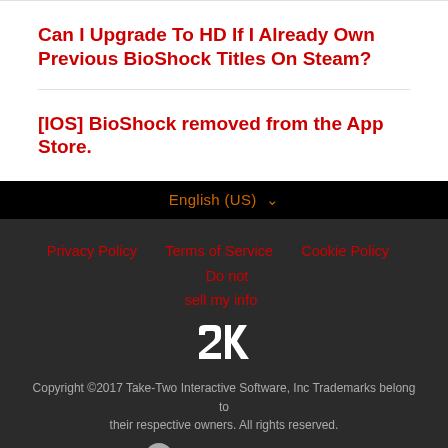Can I Upgrade To HD If I Already Own Previous BioShock Titles On Steam?
[IOS] BioShock removed from the App Store.
English (US) ▾
Privacy Policy   Terms of Service   Cookie Policy   Do not sell my info
[Figure (logo): 2K logo in white]
Copyright ©2017 Take-Two Interactive Software, Inc Trademarks belong to their respective owners. All rights reserved.
Powered by Zendesk